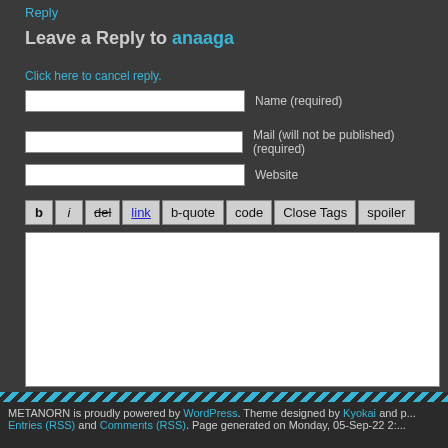Reply
Leave a Reply to anaaga
Click here to cancel reply.
Name (required)
Mail (will not be published) (required)
Website
b  i  del  link  b-quote  code  Close Tags  spoiler
Submit Comment
METANORN is proudly powered by WordPress. Theme designed by Kyokai and pr... Entries (RSS) and Comments (RSS). Page generated on Monday, 05-Sep-22 2:...